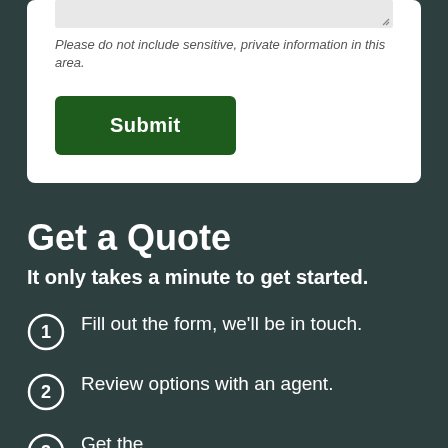Please do not include sensitive, private information in this area.
[Figure (other): Green Submit button]
Get a Quote
It only takes a minute to get started.
Fill out the form, we’ll be in touch.
Review options with an agent.
Get the...